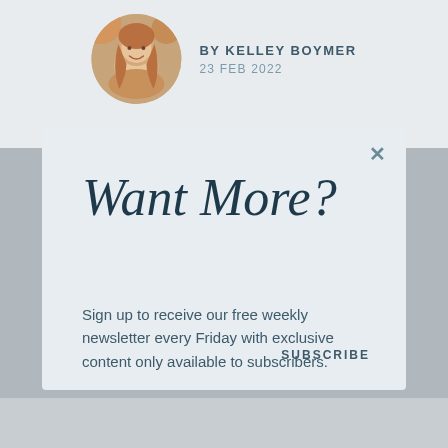[Figure (photo): Circular avatar photo of a smiling woman with long hair, outdoors with warm autumn colors]
BY KELLEY BOYMER
23 FEB 2022
Want More?
Sign up to receive our free weekly newsletter every Friday with exclusive content only available to subscribers.
Email address
SUBSCRIBE